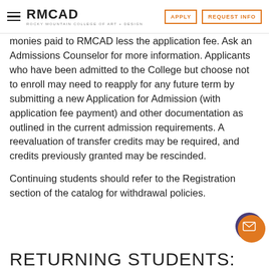RMCAD | ROCKY MOUNTAIN COLLEGE OF ART + DESIGN | APPLY | REQUEST INFO
monies paid to RMCAD less the application fee. Ask an Admissions Counselor for more information. Applicants who have been admitted to the College but choose not to enroll may need to reapply for any future term by submitting a new Application for Admission (with application fee payment) and other documentation as outlined in the current admission requirements. A reevaluation of transfer credits may be required, and credits previously granted may be rescinded.
Continuing students should refer to the Registration section of the catalog for withdrawal policies.
RETURNING STUDENTS: